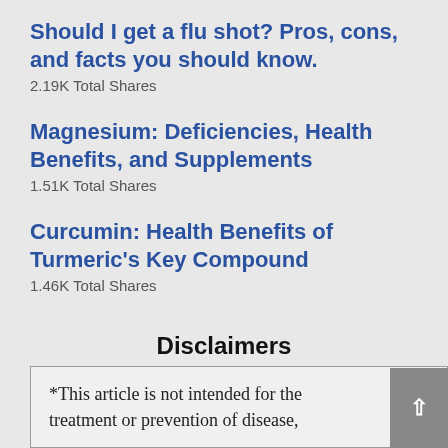Should I get a flu shot? Pros, cons, and facts you should know.
2.19K Total Shares
Magnesium: Deficiencies, Health Benefits, and Supplements
1.51K Total Shares
Curcumin: Health Benefits of Turmeric's Key Compound
1.46K Total Shares
Disclaimers
*This article is not intended for the treatment or prevention of disease,